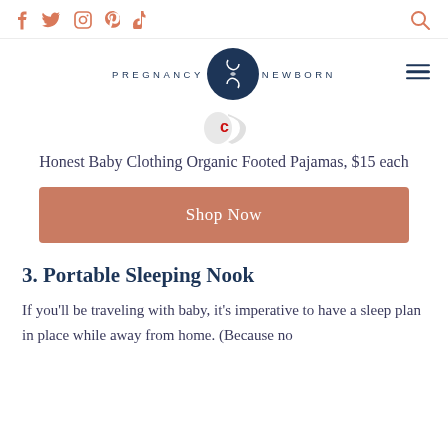Social icons: f, Twitter, Instagram, Pinterest, TikTok | PREGNANCY & NEWBORN logo | Search icon | Hamburger menu
[Figure (logo): Retailer logo — appears to be a coupon/commerce site icon with red and yellow colors]
Honest Baby Clothing Organic Footed Pajamas, $15 each
Shop Now
3. Portable Sleeping Nook
If you'll be traveling with baby, it's imperative to have a sleep plan in place while away from home. (Because no